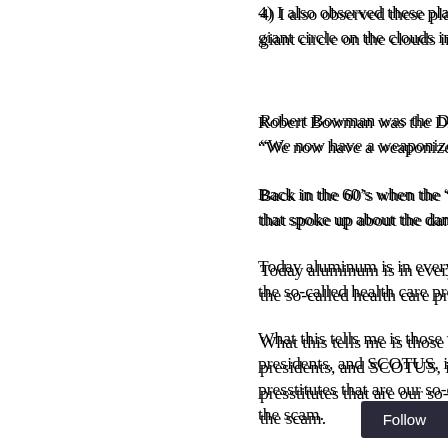4) I also observed these plasma ba... giant circle on the clouds infront of...
Robert Bowman was the DARPA h... “We now have a weaponized atmo...
Back in the 60’s when the “all new... that spoke up about the dangErs o...
Today aluminum is in everything! C... the so-called health care products.
What this tells me is those worthles... presidents, and SCOTUS, is corpo... presstitutes that are our so-called v... the scam.
Those to braindead to know, we ha... serving polliticians, bankers, orga... murdered JFK. 4 of then conspiring... and HW Bush. One was VP, and a...
To fo...